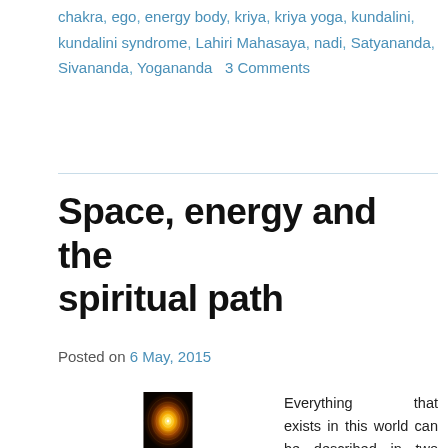chakra, ego, energy body, kriya, kriya yoga, kundalini, kundalini syndrome, Lahiri Mahasaya, nadi, Satyananda, Sivananda, Yogananda   3 Comments
Space, energy and the spiritual path
Posted on 6 May, 2015
[Figure (photo): Glowing energy mandala with golden circular light patterns on dark background, resembling a spiritual energy vortex or kundalini visualization.]
Everything that exists in this world can be described in two basic terms: space and energy, yin and yang, form and